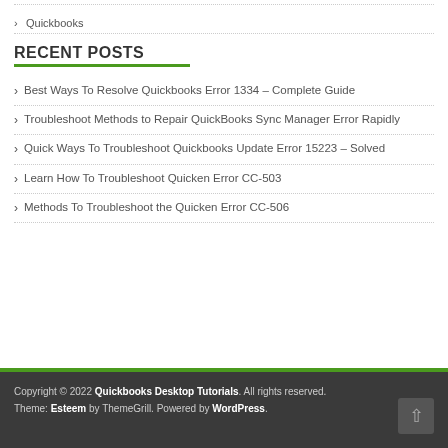Quickbooks
RECENT POSTS
Best Ways To Resolve Quickbooks Error 1334 – Complete Guide
Troubleshoot Methods to Repair QuickBooks Sync Manager Error Rapidly
Quick Ways To Troubleshoot Quickbooks Update Error 15223 – Solved
Learn How To Troubleshoot Quicken Error CC-503
Methods To Troubleshoot the Quicken Error CC-506
Copyright © 2022 Quickbooks Desktop Tutorials. All rights reserved. Theme: Esteem by ThemeGrill. Powered by WordPress.